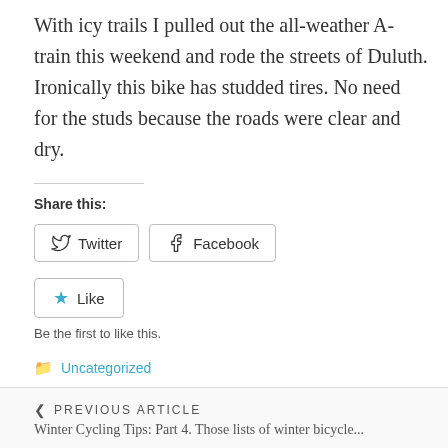With icy trails I pulled out the all-weather A-train this weekend and rode the streets of Duluth. Ironically this bike has studded tires. No need for the studs because the roads were clear and dry.
Share this:
Twitter  Facebook
Like
Be the first to like this.
Uncategorized
< PREVIOUS ARTICLE
Winter Cycling Tips: Part 4. Those lists of winter bicycle...